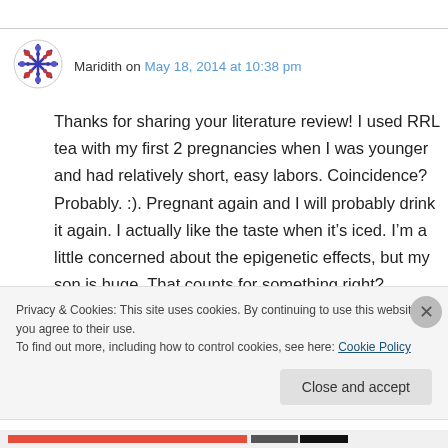Maridith on May 18, 2014 at 10:38 pm
Thanks for sharing your literature review! I used RRL tea with my first 2 pregnancies when I was younger and had relatively short, easy labors. Coincidence? Probably. :). Pregnant again and I will probably drink it again. I actually like the taste when it's iced. I'm a little concerned about the epigenetic effects, but my son is huge. That counts for something right?
Privacy & Cookies: This site uses cookies. By continuing to use this website, you agree to their use. To find out more, including how to control cookies, see here: Cookie Policy